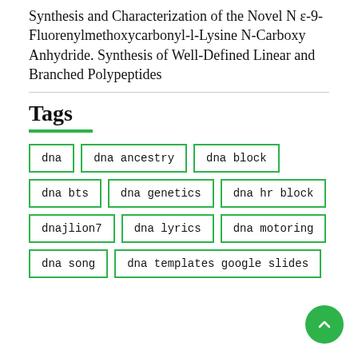Synthesis and Characterization of the Novel N ε-9-Fluorenylmethoxycarbonyl-l-Lysine N-Carboxy Anhydride. Synthesis of Well-Defined Linear and Branched Polypeptides
Tags
dna
dna ancestry
dna block
dna bts
dna genetics
dna hr block
dnajlion7
dna lyrics
dna motoring
dna song
dna templates google slides